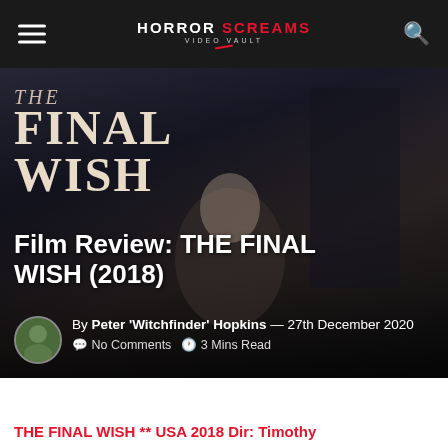HORROR SCREAMS VIDEO VAULT
[Figure (photo): Movie poster for The Final Wish (2018) showing an elderly woman in a wheelchair and a suited man in a dark atmospheric setting with the title text 'THE FINAL WISH' displayed prominently]
Film Review: THE FINAL WISH (2018)
By Peter 'Witchfinder' Hopkins — 27th December 2020   No Comments   3 Mins Read
THE FINAL WISH ** USA 2018 Dir: Timothy